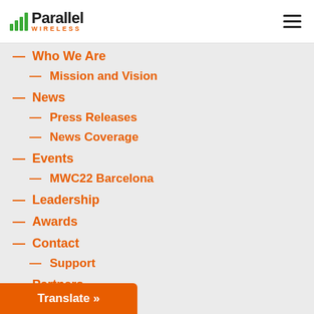[Figure (logo): Parallel Wireless logo with green bar chart icon and orange WIRELESS text]
— Who We Are
— Mission and Vision
— News
— Press Releases
— News Coverage
— Events
— MWC22 Barcelona
— Leadership
— Awards
— Contact
— Support
— Partners
— Legal
Translate »